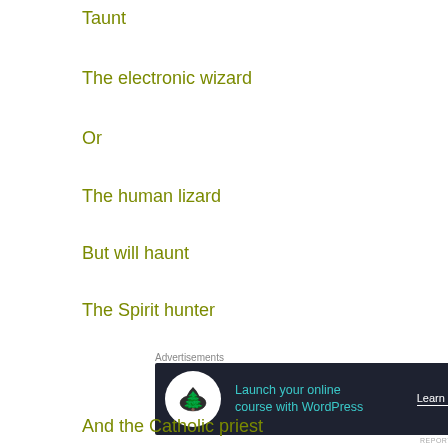Taunt
The electronic wizard
Or
The human lizard
But will haunt
The Spirit hunter
[Figure (other): Advertisement banner: Launch your online course with WordPress - Learn More]
And the Catholic priest